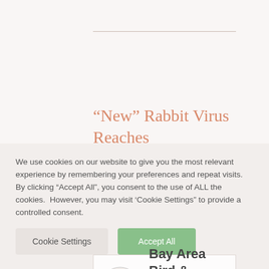“New” Rabbit Virus Reaches Southern California
Rabbit Hemorrhagic Disease virus type (RHD2) is a calicivirus that is new to California. It was detected in wild
[Figure (logo): Bay Area Bird & Exotic Exotics Hospital logo with parrot illustration]
We use cookies on our website to give you the most relevant experience by remembering your preferences and repeat visits. By clicking “Accept All”, you consent to the use of ALL the cookies. However, you may visit ‘Cookie Settings’ to provide a controlled consent.